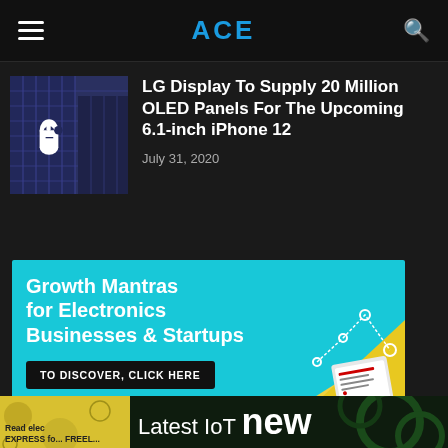ACE
[Figure (photo): Thumbnail image of Apple building with Apple logo, dark blue tones, skyscraper]
LG Display To Supply 20 Million OLED Panels For The Upcoming 6.1-inch iPhone 12
July 31, 2020
[Figure (infographic): Advertisement banner with cyan background: Growth Mantras for Electronics Businesses & Startups. TO DISCOVER, CLICK HERE button. Yellow and decorative graphic on right side.]
[Figure (infographic): Overlapping ad banners at bottom: yellow area on left, dark green IoT news banner on right showing 'Latest IoT new' text, partially visible text 'Read elec... EXPRESS fo... FREEL...']